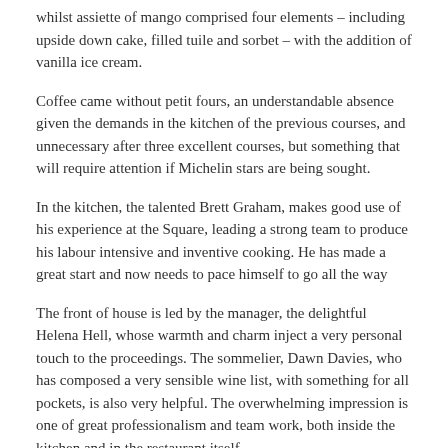whilst assiette of mango comprised four elements – including upside down cake, filled tuile and sorbet – with the addition of vanilla ice cream.
Coffee came without petit fours, an understandable absence given the demands in the kitchen of the previous courses, and unnecessary after three excellent courses, but something that will require attention if Michelin stars are being sought.
In the kitchen, the talented Brett Graham, makes good use of his experience at the Square, leading a strong team to produce his labour intensive and inventive cooking. He has made a great start and now needs to pace himself to go all the way
The front of house is led by the manager, the delightful Helena Hell, whose warmth and charm inject a very personal touch to the proceedings. The sommelier, Dawn Davies, who has composed a very sensible wine list, with something for all pockets, is also very helpful. The overwhelming impression is one of great professionalism and team work, both inside the kitchen and in the restaurant itself.
£39.50 for three courses for dinner is a steal. Lunch, which we have not sampled, is £24.50 for three courses. There is also an